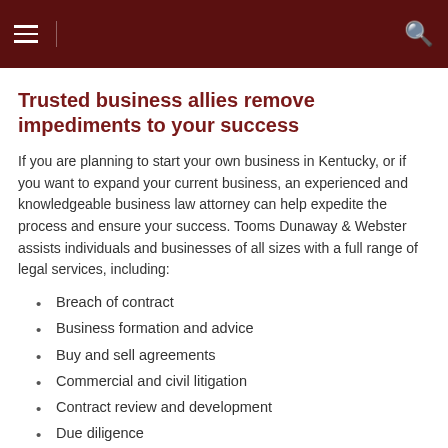≡ [menu icon] [search icon]
Trusted business allies remove impediments to your success
If you are planning to start your own business in Kentucky, or if you want to expand your current business, an experienced and knowledgeable business law attorney can help expedite the process and ensure your success. Tooms Dunaway & Webster assists individuals and businesses of all sizes with a full range of legal services, including:
Breach of contract
Business formation and advice
Buy and sell agreements
Commercial and civil litigation
Contract review and development
Due diligence
Financial investment counseling
Mergers and acquisitions
Securities issues